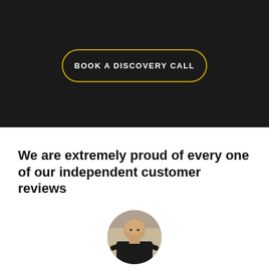[Figure (other): Yellow bar at top of dark section, partial page element]
BOOK A DISCOVERY CALL
We are extremely proud of every one of our independent customer reviews
[Figure (photo): Circular profile photo of a bald man in a black shirt, appears to be in a gym or similar setting]